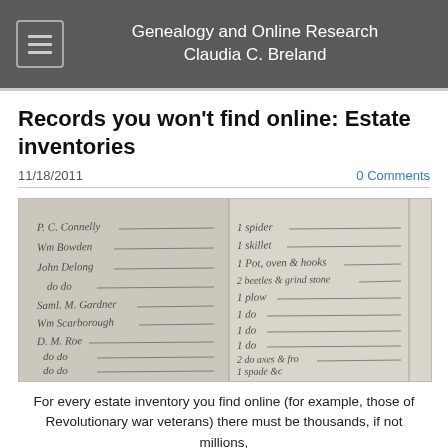Genealogy and Online Research
Claudia C. Breland
Records you won't find online: Estate inventories
11/18/2011
0 Comments
[Figure (photo): A photograph of a handwritten historical estate inventory document with cursive script listing names and items in two columns]
For every estate inventory you find online (for example, those of Revolutionary war veterans) there must be thousands, if not millions,